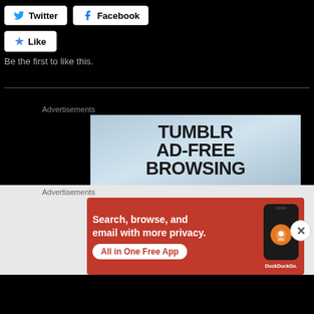[Figure (screenshot): Social share buttons: Twitter and Facebook buttons]
[Figure (screenshot): Like button with star icon]
Be the first to like this.
Advertisements
[Figure (screenshot): Tumblr Ad-Free Browsing advertisement banner with light blue gradient background]
Advertisements
[Figure (screenshot): DuckDuckGo advertisement: Search, browse, and email with more privacy. All in One Free App]